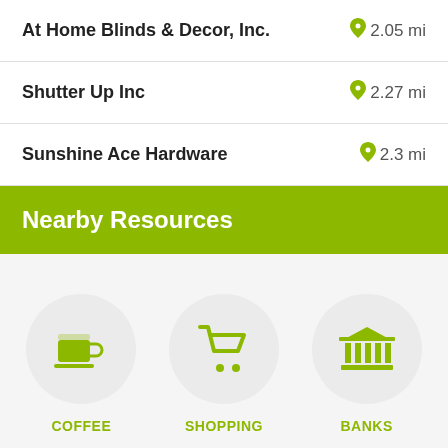At Home Blinds & Decor, Inc.  2.05 mi
Shutter Up Inc  2.27 mi
Sunshine Ace Hardware  2.3 mi
Nearby Resources
[Figure (infographic): Three circular icon buttons for nearby resources: Coffee (cup icon), Shopping (cart icon), Banks (building/bank icon), each in a light grey circle with olive green icons and labels below.]